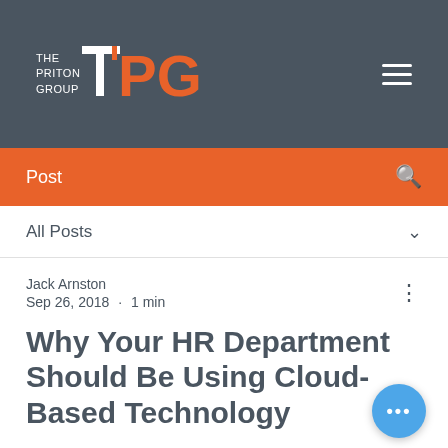THE PRITON GROUP TPG
Post
All Posts
Jack Arnston
Sep 26, 2018 · 1 min
Why Your HR Department Should Be Using Cloud-Based Technology